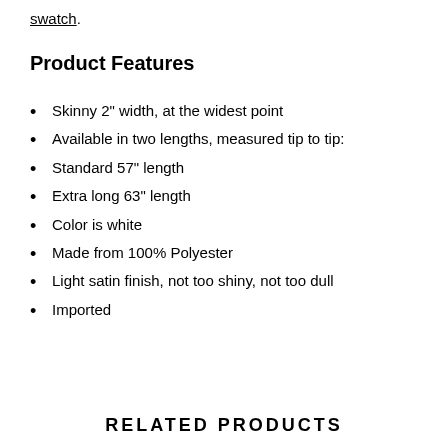swatch.
Product Features
Skinny 2" width, at the widest point
Available in two lengths, measured tip to tip:
Standard 57" length
Extra long 63" length
Color is white
Made from 100% Polyester
Light satin finish, not too shiny, not too dull
Imported
RELATED PRODUCTS